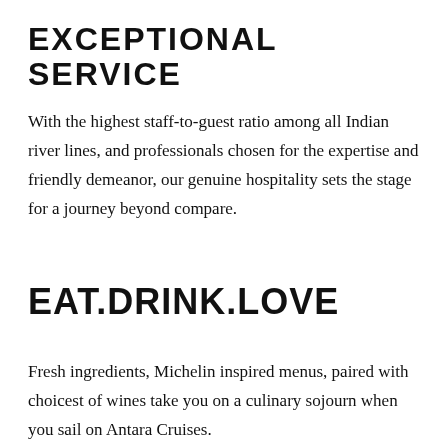EXCEPTIONAL SERVICE
With the highest staff-to-guest ratio among all Indian river lines, and professionals chosen for the expertise and friendly demeanor, our genuine hospitality sets the stage for a journey beyond compare.
EAT.DRINK.LOVE
Fresh ingredients, Michelin inspired menus, paired with choicest of wines take you on a culinary sojourn when you sail on Antara Cruises.